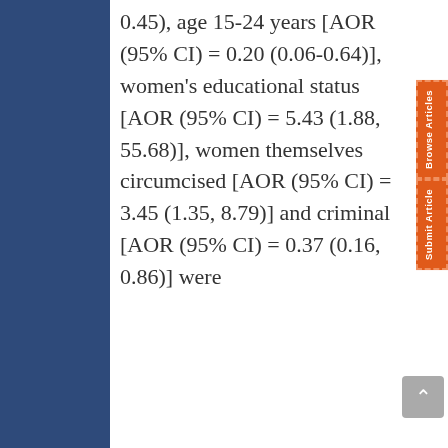0.45), age 15-24 years [AOR (95% CI) = 0.20 (0.06-0.64)], women's educational status [AOR (95% CI) = 5.43 (1.88, 55.68)], women themselves circumcised [AOR (95% CI) = 3.45 (1.35, 8.79)] and criminal [AOR (95% CI) = 0.37 (0.16, 0.86)] were